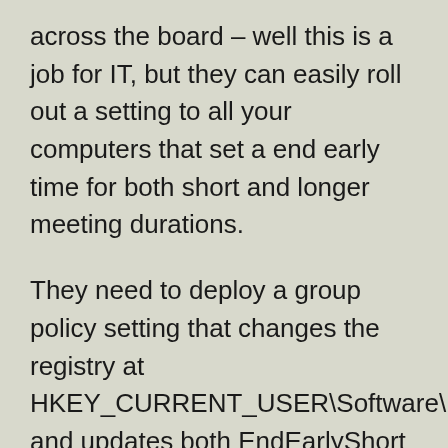across the board – well this is a job for IT, but they can easily roll out a setting to all your computers that set a end early time for both short and longer meeting durations.
They need to deploy a group policy setting that changes the registry at HKEY_CURRENT_USER\Software\Microsoft\Office\16.0\Outlook\Options\Calendar and updates both EndEarlyShort and EndEarlyLong values as well as the EndEventsEarly key. EndEarlyShort is of course the value that affects meetings under one hour – and you do not need to accept the